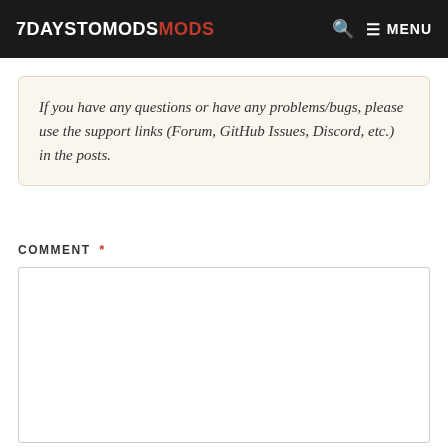7DAYSTODIEMODS  🔍  ☰ MENU
If you have any questions or have any problems/bugs, please use the support links (Forum, GitHub Issues, Discord, etc.) in the posts.
COMMENT *